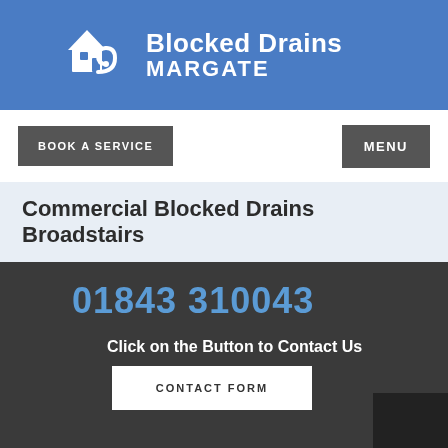[Figure (logo): Blocked Drains Margate logo with house icon and swirl, on blue background]
BOOK A SERVICE
MENU
Commercial Blocked Drains Broadstairs
01843 310043
Click on the Button to Contact Us
CONTACT FORM